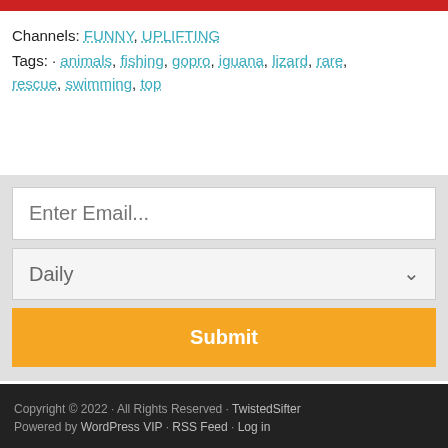Channels: FUNNY, UPLIFTING
Tags: · animals, fishing, gopro, iguana, lizard, rare, rescue, swimming, top
Enter Email...
Daily
Submit
Copyright © 2022 · All Rights Reserved · TwistedSifter
Powered by WordPress VIP · RSS Feed · Log in